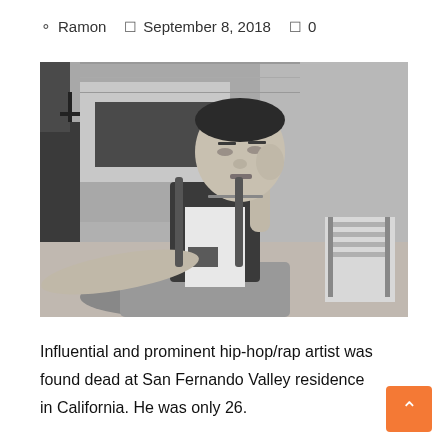Ramon   September 8, 2018   0
[Figure (photo): Black and white photo of a young man (Mac Miller) sitting on steps outdoors, wearing a Champion jersey over a white t-shirt with a watch, leaning back with one arm extended forward, brick wall and a folding chair visible in the background.]
Influential and prominent hip-hop/rap artist was found dead at San Fernando Valley residence in California. He was only 26.